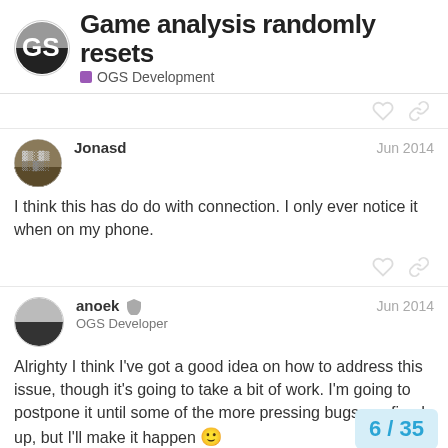Game analysis randomly resets — OGS Development
Jonasd — Jun 2014
I think this has do do with connection. I only ever notice it when on my phone.
anoek — OGS Developer — Jun 2014
Alrighty I think I've got a good idea on how to address this issue, though it's going to take a bit of work. I'm going to postpone it until some of the more pressing bugs are fixed up, but I'll make it happen 🙂
6 / 35